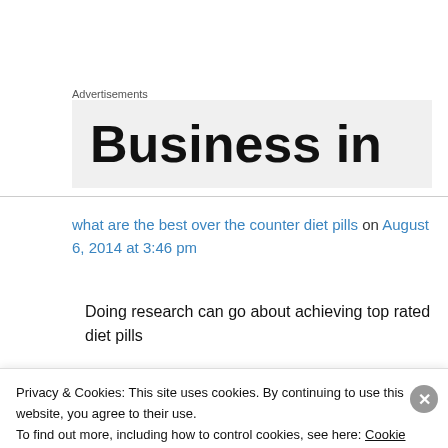Advertisements
[Figure (other): Advertisement banner showing 'Business in' text on light grey background]
what are the best over the counter diet pills on August 6, 2014 at 3:46 pm
Doing research can go about achieving top rated diet pills
Privacy & Cookies: This site uses cookies. By continuing to use this website, you agree to their use.
To find out more, including how to control cookies, see here: Cookie Policy
Close and accept